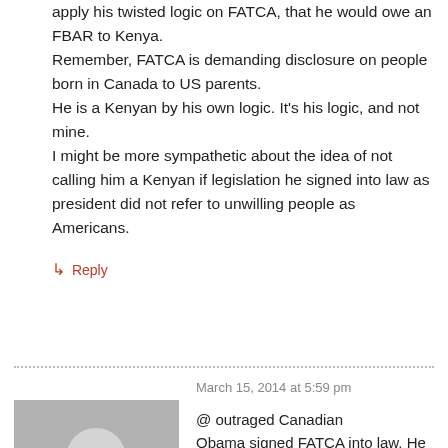apply his twisted logic on FATCA, that he would owe an FBAR to Kenya. Remember, FATCA is demanding disclosure on people born in Canada to US parents. He is a Kenyan by his own logic. It’s his logic, and not mine. I might be more sympathetic about the idea of not calling him a Kenyan if legislation he signed into law as president did not refer to unwilling people as Americans.
↳ Reply
March 15, 2014 at 5:59 pm
[Figure (illustration): Grey placeholder avatar image with silhouette of a person]
ArcticGrayling
@ outraged Canadian Obama signed FATCA into law. He takes executive responsibility for it as president. In fact, if I remember correctly, the concept